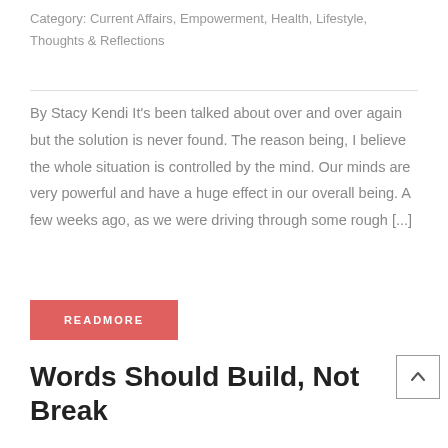Category: Current Affairs, Empowerment, Health, Lifestyle, Thoughts & Reflections
By Stacy Kendi It's been talked about over and over again but the solution is never found. The reason being, I believe the whole situation is controlled by the mind. Our minds are very powerful and have a huge effect in our overall being. A few weeks ago, as we were driving through some rough [...]
READMORE
Words Should Build, Not Break